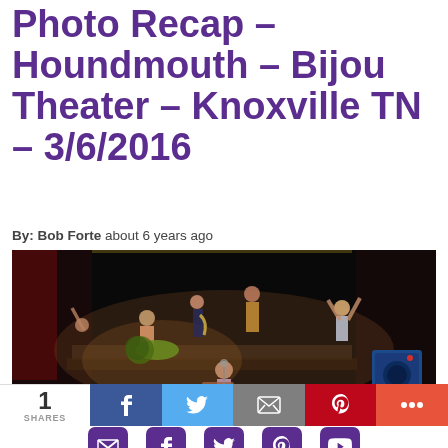Photo Recap – Houndmouth – Bijou Theater – Knoxville TN – 3/6/2016
By: Bob Forte about 6 years ago
[Figure (photo): Concert photo of Houndmouth performing on stage at Bijou Theater, Knoxville TN on 3/6/2016. Multiple band members visible including a drummer, guitar player, and vocalist with hands raised, performing on a darkly lit stage.]
[Figure (infographic): Social sharing icons row: email (envelope), Facebook, Twitter, Pinterest, YouTube — all with purple rounded square backgrounds]